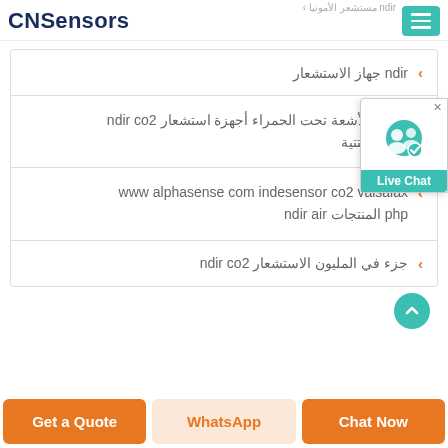CNSensors
ndir مستشعر الأمونيا
ndir جهاز الاستشعار
أجهزة استشعار ndir co2 تعمل بالأشعة تحت الحمراء غير التشتتية
www alphasense com indesensor co2 vaisalax المنتجات ndir air php
جزء في المليون الاستشعار ndir co2
[Figure (screenshot): Live Chat widget with teal background and user icon]
Get a Quote | WhatsApp | Chat Now